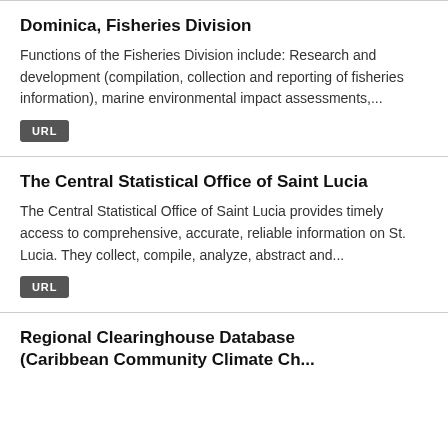Dominica, Fisheries Division
Functions of the Fisheries Division include: Research and development (compilation, collection and reporting of fisheries information), marine environmental impact assessments,...
URL
The Central Statistical Office of Saint Lucia
The Central Statistical Office of Saint Lucia provides timely access to comprehensive, accurate, reliable information on St. Lucia. They collect, compile, analyze, abstract and...
URL
Regional Clearinghouse Database (Caribbean Community Climate Ch...